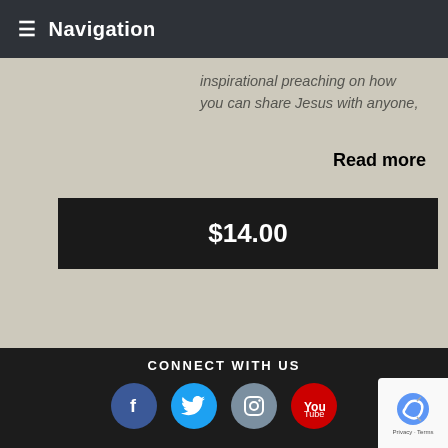Navigation
inspirational preaching on how you can share Jesus with anyone,
Read more
$14.00
CONNECT WITH US
[Figure (infographic): Social media icons: Facebook (blue circle), Twitter (light blue circle), Instagram (grey-blue circle), YouTube (red circle)]
ABOUT ARTHUR
Arthur Blessitt has carried the cross around the world, every nation and is listed in the Guinness World Records